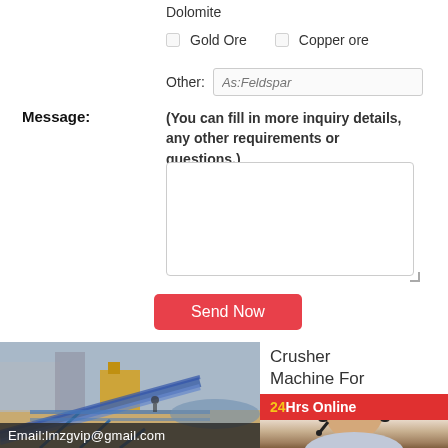Dolomite
☐ Gold Ore   ☐ Copper ore
Other: As:Feldspar
Message: (You can fill in more inquiry details, any other requirements or questions.)
Send Now
[Figure (photo): Photo of a belt conveyor at a mining/crushing site with overlay text Email:lmzgvip@gmail.com]
Crusher Machine For
24Hrs Online